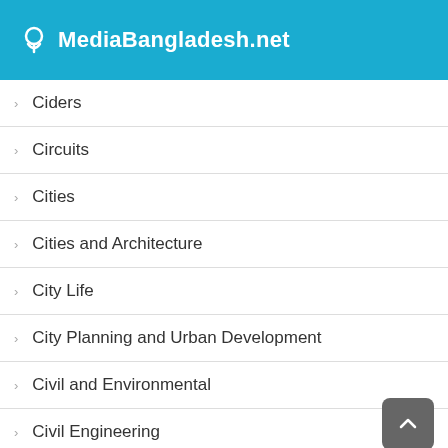MediaBangladesh.net
Ciders
Circuits
Cities
Cities and Architecture
City Life
City Planning and Urban Development
Civil and Environmental
Civil Engineering
Civil Rights and Liberties
Civil War